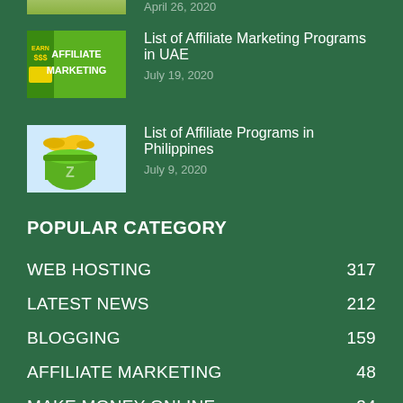April 26, 2020
List of Affiliate Marketing Programs in UAE
July 19, 2020
List of Affiliate Programs in Philippines
July 9, 2020
POPULAR CATEGORY
WEB HOSTING 317
LATEST NEWS 212
BLOGGING 159
AFFILIATE MARKETING 48
MAKE MONEY ONLINE 34